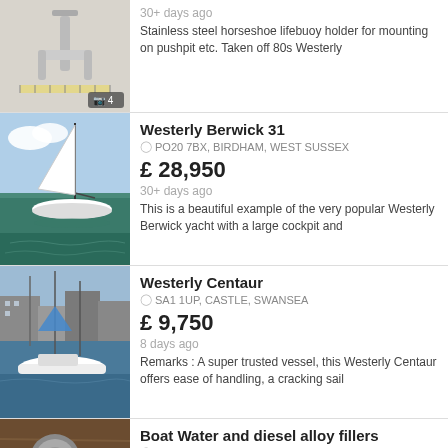[Figure (photo): Stainless steel horseshoe lifebuoy holder product photo with camera badge showing 4 photos]
30+ days ago
Stainless steel horseshoe lifebuoy holder for mounting on pushpit etc. Taken off 80s Westerly
Westerly Berwick 31
PO20 7BX, BIRDHAM, WEST SUSSEX
£ 28,950
30+ days ago
This is a beautiful example of the very popular Westerly Berwick yacht with a large cockpit and
[Figure (photo): White sailing yacht Westerly Berwick 31 on water with blue sky]
Westerly Centaur
SA1 1UP, CASTLE, SWANSEA
£ 9,750
8 days ago
Remarks : A super trusted vessel, this Westerly Centaur offers ease of handling, a cracking sail
[Figure (photo): Westerly Centaur sailing yacht moored in harbour]
Boat Water and diesel alloy fillers
KA107NG, TROON, SOUTH AYRSHIRE
[Figure (photo): Boat water and diesel alloy fillers product photo on wooden surface]